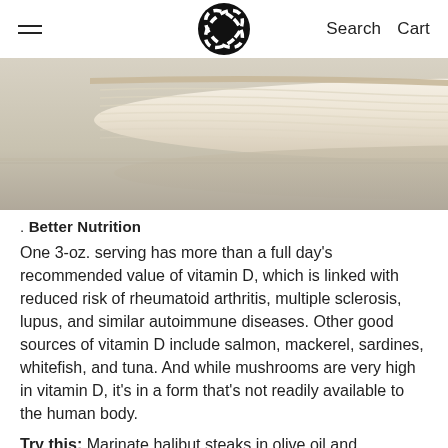Search  Cart
[Figure (photo): Close-up photo of a halibut fillet on a reflective surface, showing the white/cream-colored flesh texture from the side.]
. Better Nutrition
One 3-oz. serving has more than a full day's recommended value of vitamin D, which is linked with reduced risk of rheumatoid arthritis, multiple sclerosis, lupus, and similar autoimmune diseases. Other good sources of vitamin D include salmon, mackerel, sardines, whitefish, and tuna. And while mushrooms are very high in vitamin D, it's in a form that's not readily available to the human body.
Try this: Marinate halibut steaks in olive oil and...